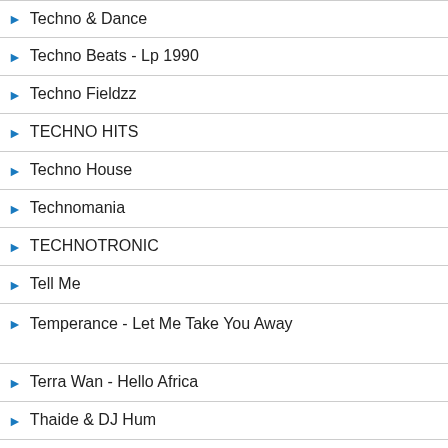Techno & Dance
Techno Beats - Lp 1990
Techno Fieldzz
TECHNO HITS
Techno House
Technomania
TECHNOTRONIC
Tell Me
Temperance - Let Me Take You Away
Terra Wan - Hello Africa
Thaide & DJ Hum
THE 2 LIVE CREW
The B-52s
The Bass That Ate Miami - 1989
The Best Deep Dance